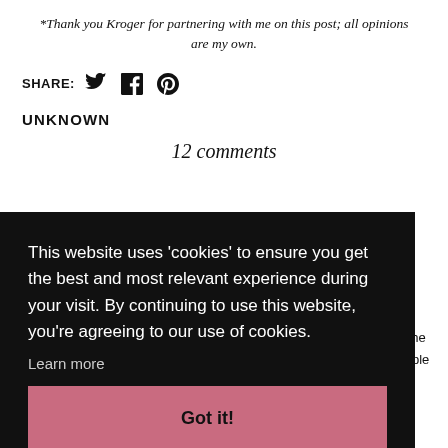*Thank you Kroger for partnering with me on this post; all opinions are my own.
SHARE:
UNKNOWN
12 comments
This website uses 'cookies' to ensure you get the best and most relevant experience during your visit. By continuing to use this website, you're agreeing to our use of cookies. Learn more
Got it!